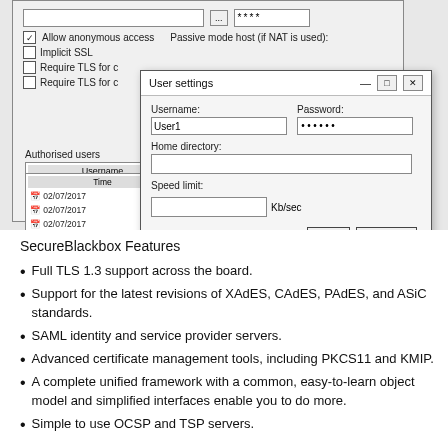[Figure (screenshot): Screenshot showing an FTP server configuration dialog with an overlapping 'User settings' dialog. The User settings dialog contains fields for Username (User1), Password (masked), Home directory, and Speed limit (Kb/sec), with Ok and Cancel buttons.]
SecureBlackbox Features
Full TLS 1.3 support across the board.
Support for the latest revisions of XAdES, CAdES, PAdES, and ASiC standards.
SAML identity and service provider servers.
Advanced certificate management tools, including PKCS11 and KMIP.
A complete unified framework with a common, easy-to-learn object model and simplified interfaces enable you to do more.
Simple to use OCSP and TSP servers.